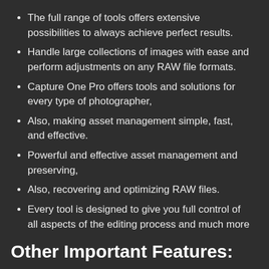The full range of tools offers extensive possibilities to always achieve perfect results.
Handle large collections of images with ease and perform adjustments on any RAW file formats.
Capture One Pro offers tools and solutions for every type of photographer,
Also, making asset management simple, fast, and effective.
Powerful and effective asset management and preserving,
Also, recovering and optimizing RAW files.
Every tool is designed to give you full control of all aspects of the editing process and much more
Other Important Features: